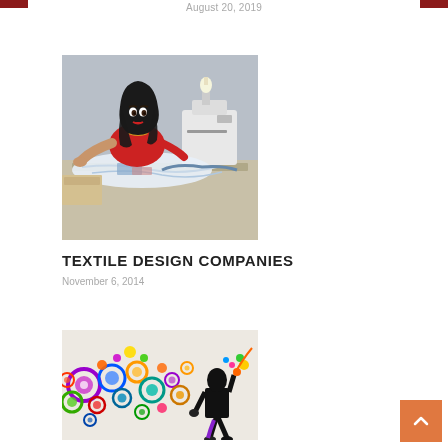August 20, 2019
[Figure (photo): Woman wearing hijab sitting at a sewing machine in a textile workshop, surrounded by fabric]
TEXTILE DESIGN COMPANIES
November 6, 2014
[Figure (illustration): Colorful illustration of a man in black suit walking while colorful circles and bubbles emerge from him]